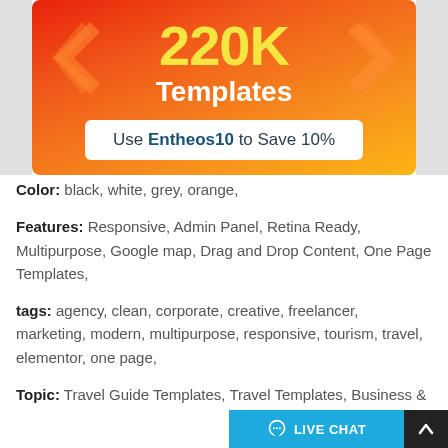[Figure (infographic): Orange/red gradient banner showing '220K Templates' in large text with yellow numerals and a white coupon box reading 'Use Entheos10 to Save 10%']
Color: black, white, grey, orange,
Features: Responsive, Admin Panel, Retina Ready, Multipurpose, Google map, Drag and Drop Content, One Page Templates,
tags: agency, clean, corporate, creative, freelancer, marketing, modern, multipurpose, responsive, tourism, travel, elementor, one page,
Topic: Travel Guide Templates, Travel Templates, Business & Services, Holidays, Gifts & Flowers, Sports, Outdoors & Travel, Finance,